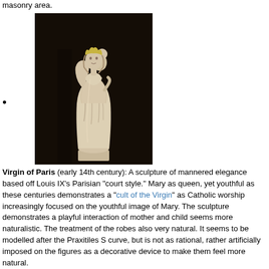masonry area.
•
[Figure (photo): Statue of Virgin of Paris, early 14th century Gothic sculpture showing Mary holding the Christ child, white marble against dark background]
Virgin of Paris (early 14th century): A sculpture of mannered elegance based off Louis IX's Parisian "court style." Mary as queen, yet youthful as these centuries demonstrates a "cult of the Virgin" as Catholic worship increasingly focused on the youthful image of Mary. The sculpture demonstrates a playful interaction of mother and child seems more naturalistic. The treatment of the robes also very natural. It seems to be modelled after the Praxitiles S curve, but is not as rational, rather artificially imposed on the figures as a decorative device to make them feel more natural.